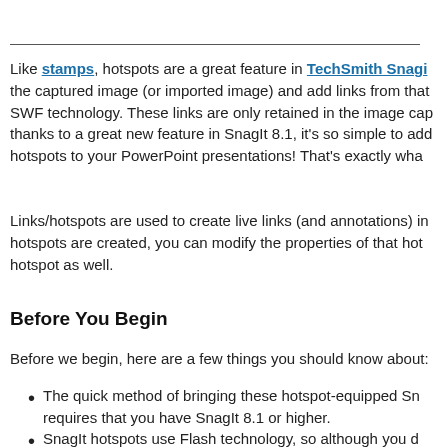Like stamps, hotspots are a great feature in TechSmith Snagit that lets you take the captured image (or imported image) and add links from that image using SWF technology. These links are only retained in the image capture, but thanks to a great new feature in SnagIt 8.1, it's so simple to add these hotspots to your PowerPoint presentations! That's exactly what...
Links/hotspots are used to create live links (and annotations) in... Once hotspots are created, you can modify the properties of that hotspot and delete that hotspot as well.
Before You Begin
Before we begin, here are a few things you should know about:
The quick method of bringing these hotspot-equipped Sn... requires that you have SnagIt 8.1 or higher.
SnagIt hotspots use Flash technology, so although you d...